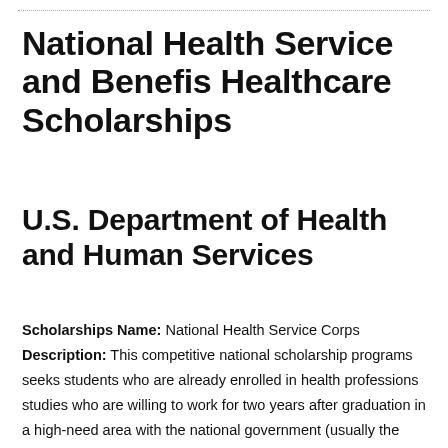National Health Service and Benefis Healthcare Scholarships
U.S. Department of Health and Human Services
Scholarships Name: National Health Service Corps Description: This competitive national scholarship programs seeks students who are already enrolled in health professions studies who are willing to work for two years after graduation in a high-need area with the national government (usually the Health Resources and Services Administration). The programs offers full tuition,